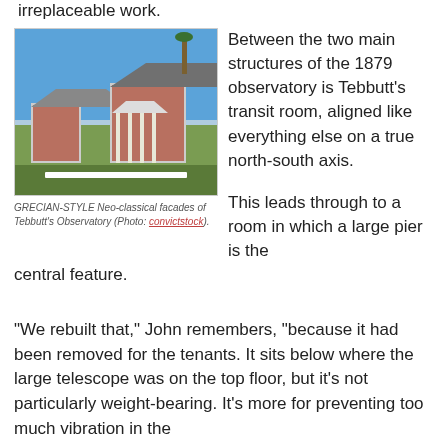irreplaceable work.
[Figure (photo): Exterior photo of Tebbutt's Observatory showing Grecian-style neo-classical facades, brick buildings with white trim, columned portico, blue sky, palm trees, and white picket fence in foreground.]
GRECIAN-STYLE Neo-classical facades of Tebbutt's Observatory (Photo: convictstock).
Between the two main structures of the 1879 observatory is Tebbutt's transit room, aligned like everything else on a true north-south axis.
This leads through to a room in which a large pier is the central feature.
“We rebuilt that,” John remembers, “because it had been removed for the tenants. It sits below where the large telescope was on the top floor, but it’s not particularly weight-bearing. It’s more for preventing too much vibration in the